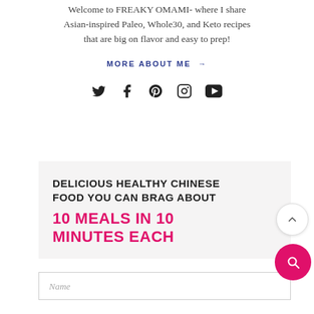Welcome to FREAKY OMAMI- where I share Asian-inspired Paleo, Whole30, and Keto recipes that are big on flavor and easy to prep!
MORE ABOUT ME →
[Figure (other): Social media icons: Twitter, Facebook, Pinterest, Instagram, YouTube]
DELICIOUS HEALTHY CHINESE FOOD YOU CAN BRAG ABOUT
10 MEALS IN 10 MINUTES EACH
Name (input placeholder)